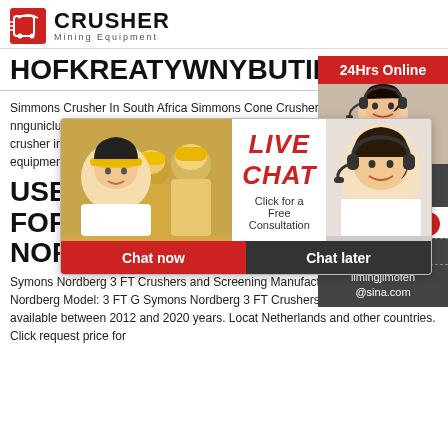[Figure (logo): Crusher Mining Equipment logo with red shopping bag icon and bold text]
HOFKREATYWNYBUTIK.PL
Simmons Crusher In South Africa Simmons Cone Crushers In South Africa Used nnguniclub co za simmons crusher in south africaRock Crusher Mill simmons crusher in south africa XSM is a leading global manufacturer of crushing and equipment s individual si Chat.
USED FOR SALE. SYMONS NORDBERG
Symons Nordberg 3 FT Crushers and Screening Manufacturer: Symons Nordberg Model: 3 FT G Symons Nordberg 3 FT Crushers and Screening available between 2012 and 2020 years. Locat Netherlands and other countries. Click request price for
[Figure (screenshot): Live Chat popup overlay with workers in hard hats, LIVE CHAT title in red, Click for a Free Consultation text, Chat now and Chat later buttons]
[Figure (infographic): Right sidebar with 24Hrs Online red banner, customer service photo, Need questions & suggestion section with Chat Now button, Enquiry section, and limingjlmofen@sina.com email]